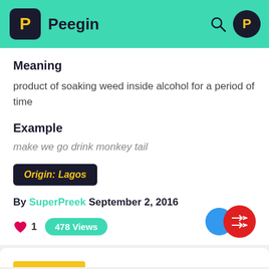Peegin
Meaning
product of soaking weed inside alcohol for a period of time
Example
make we go drink monkey tail
Origin: Lagos
By SuperPreek September 2, 2016
1  478 Views